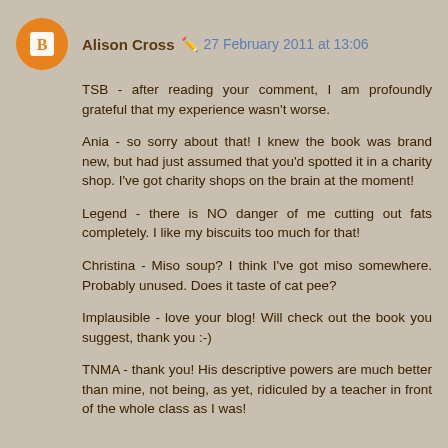Alison Cross · 27 February 2011 at 13:06
TSB - after reading your comment, I am profoundly grateful that my experience wasn't worse.
Ania - so sorry about that! I knew the book was brand new, but had just assumed that you'd spotted it in a charity shop. I've got charity shops on the brain at the moment!
Legend - there is NO danger of me cutting out fats completely. I like my biscuits too much for that!
Christina - Miso soup? I think I've got miso somewhere. Probably unused. Does it taste of cat pee?
Implausible - love your blog! Will check out the book you suggest, thank you :-)
TNMA - thank you! His descriptive powers are much better than mine, not being, as yet, ridiculed by a teacher in front of the whole class as I was!